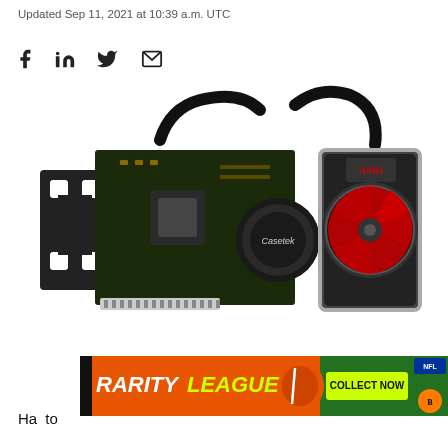Updated Sep 11, 2021 at 10:39 a.m. UTC
[Figure (illustration): Social media sharing icons: Facebook, LinkedIn, Twitter, Email (envelope)]
[Figure (photo): Exploded view of a liquid-cooled AMD graphics card (GPU) showing the PCB, Asetek liquid cooling pump/block, radiator/fan unit with red AMD fan, and GPU bracket components laid out in an assembly diagram style on white background.]
[Figure (other): Advertisement banner for Rarity League NFL collectibles with orange background, green 'Collect Now' button and NFL/Bengals logo]
Ha... to